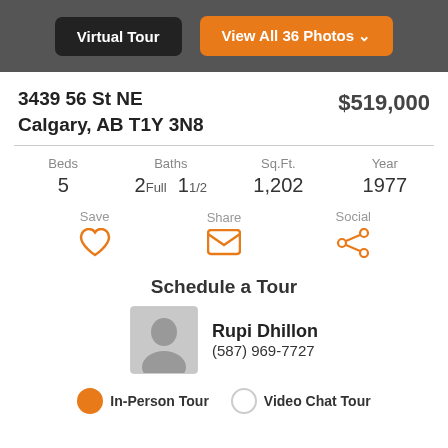[Figure (screenshot): Navigation header bar with two buttons: 'Virtual Tour' (dark/black) and 'View All 36 Photos' (orange)]
3439 56 St NE
Calgary, AB T1Y 3N8
$519,000
| Beds | Baths | Sq.Ft. | Year |
| --- | --- | --- | --- |
| 5 | 2Full  1 1/2 | 1,202 | 1977 |
Save  Share  Social
Schedule a Tour
Rupi Dhillon
(587) 969-7727
In-Person Tour   Video Chat Tour